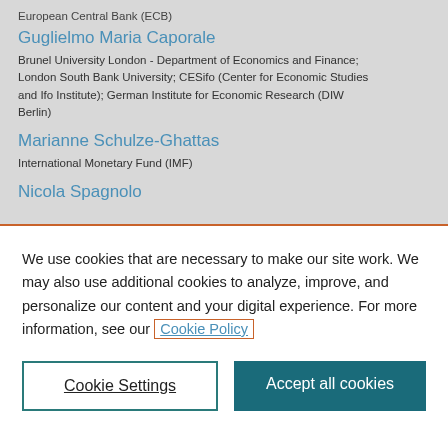European Central Bank (ECB)
Guglielmo Maria Caporale
Brunel University London - Department of Economics and Finance; London South Bank University; CESifo (Center for Economic Studies and Ifo Institute); German Institute for Economic Research (DIW Berlin)
Marianne Schulze-Ghattas
International Monetary Fund (IMF)
Nicola Spagnolo
We use cookies that are necessary to make our site work. We may also use additional cookies to analyze, improve, and personalize our content and your digital experience. For more information, see our Cookie Policy
Cookie Settings
Accept all cookies